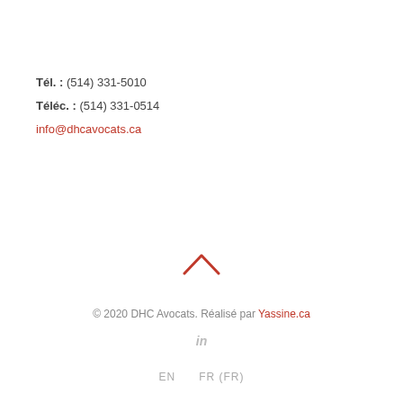Tél. : (514) 331-5010
Téléc. : (514) 331-0514
info@dhcavocats.ca
[Figure (illustration): Upward-pointing chevron arrow in red/coral color, used as a scroll-to-top button]
© 2020 DHC Avocats. Réalisé par Yassine.ca
in
EN    FR (FR)